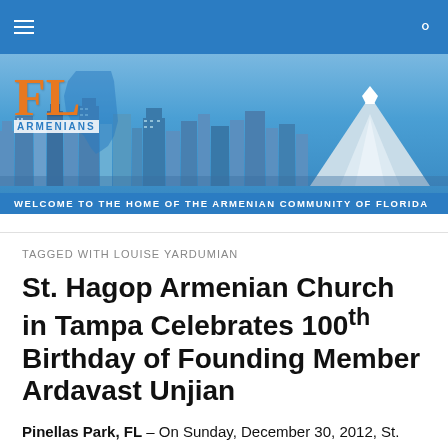FL Armenians — Navigation bar
[Figure (illustration): FL Armenians website banner with Florida state map outline, orange 'FL' logo text, 'ARMENIANS' label, city skyline, and snowy mountain in background. Tagline: WELCOME TO THE HOME OF THE ARMENIAN COMMUNITY OF FLORIDA]
TAGGED WITH LOUISE YARDUMIAN
St. Hagop Armenian Church in Tampa Celebrates 100th Birthday of Founding Member Ardavast Unjian
Pinellas Park, FL – On Sunday, December 30, 2012, St.